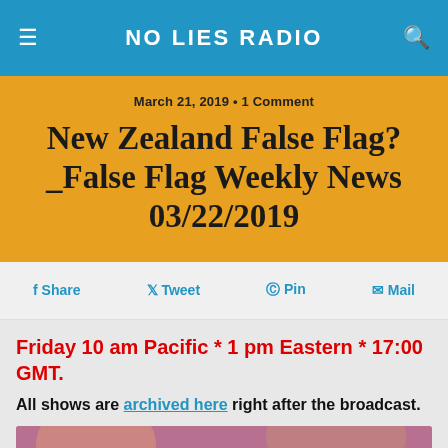NO LIES RADIO
March 21, 2019 • 1 Comment
New Zealand False Flag?_False Flag Weekly News 03/22/2019
Share  Tweet  Pin  Mail
Friday 10 am Pacific * 1 pm Eastern * 17:00 GMT.
All shows are archived here right after the broadcast.
[Figure (screenshot): Video thumbnail with text: False Flag Islamophobia Conference: Live Stream from ...]